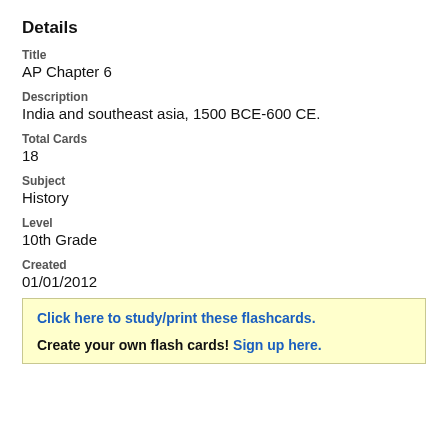Details
Title
AP Chapter 6
Description
India and southeast asia, 1500 BCE-600 CE.
Total Cards
18
Subject
History
Level
10th Grade
Created
01/01/2012
Click here to study/print these flashcards.
Create your own flash cards! Sign up here.